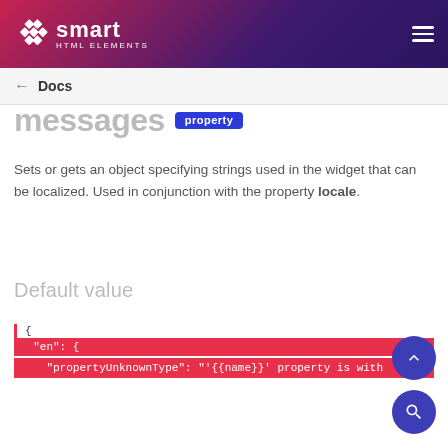[Figure (logo): Smart HTML Elements logo with diamond icon and hamburger menu on dark gradient header]
← Docs
messages property
Sets or gets an object specifying strings used in the widget that can be localized. Used in conjunction with the property locale.
Default value
{ "en": { "propertyUnknownType": "'{{name}}' property is with defined" ...